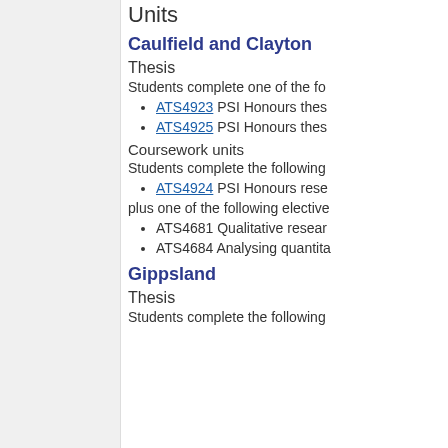Units
Caulfield and Clayton
Thesis
Students complete one of the fo
ATS4923 PSI Honours thes
ATS4925 PSI Honours thes
Coursework units
Students complete the following
ATS4924 PSI Honours rese
plus one of the following elective
ATS4681 Qualitative resear
ATS4684 Analysing quantita
Gippsland
Thesis
Students complete the following